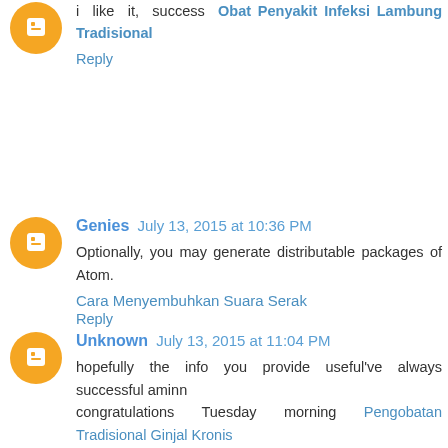i like it, success Obat Penyakit Infeksi Lambung Tradisional
Reply
Genies July 13, 2015 at 10:36 PM
Optionally, you may generate distributable packages of Atom.
Cara Menyembuhkan Suara Serak
Reply
Unknown July 13, 2015 at 11:04 PM
hopefully the info you provide useful've always successful aminn
congratulations Tuesday morning Pengobatan Tradisional Ginjal Kronis
Obat Herbal Kista Endometriosis Tradisional Terbaru
Reply